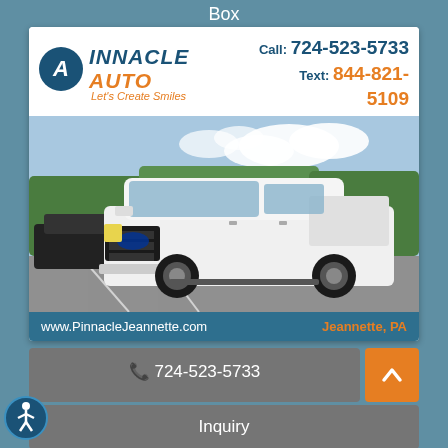Box
[Figure (photo): Pinnacle Auto dealership advertisement featuring a white Ford F-150 truck parked in a lot. Header shows Pinnacle Auto logo with phone numbers: Call 724-523-5733, Text 844-821-5109. Footer shows www.PinnacleJeannette.com and Jeannette, PA.]
📞 724-523-5733
Inquiry
💬 Text Us